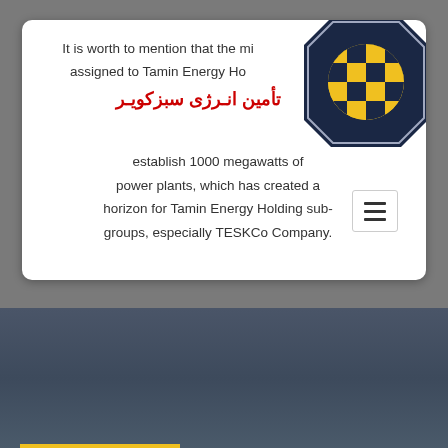It is worth to mention that the mi... assigned to Tamin Energy Ho... establish 1000 megawatts of... power plants, which has created a ... horizon for Tamin Energy Holding sub-groups, especially TESKCo Company.
تأمین انـرژی سبزکویـر
[Figure (logo): Tamin Energy Holding logo - dark navy hexagon/octagon shape with yellow checkered globe inside]
Benefits of Solar Energy